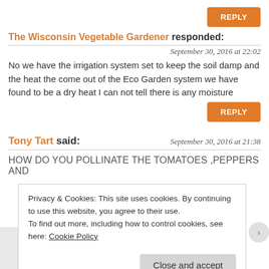REPLY
The Wisconsin Vegetable Gardener responded:
September 30, 2016 at 22:02
No we have the irrigation system set to keep the soil damp and the heat the come out of the Eco Garden system we have found to be a dry heat I can not tell there is any moisture
REPLY
Tony Tart said:
September 30, 2016 at 21:38
HOW DO YOU POLLINATE THE TOMATOES ,PEPPERS AND
Privacy & Cookies: This site uses cookies. By continuing to use this website, you agree to their use.
To find out more, including how to control cookies, see here: Cookie Policy
Close and accept